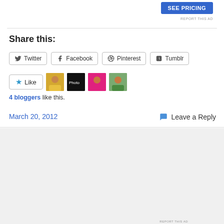[Figure (other): SEE PRICING blue button in top right]
REPORT THIS AD
Share this:
Twitter
Facebook
Pinterest
Tumblr
[Figure (other): Like button with star icon and 4 blogger avatars]
4 bloggers like this.
March 20, 2012
Leave a Reply
[Figure (other): DuckDuckGo advertisement banner: Search, browse, and email with more privacy. All in One Free App]
REPORT THIS AD